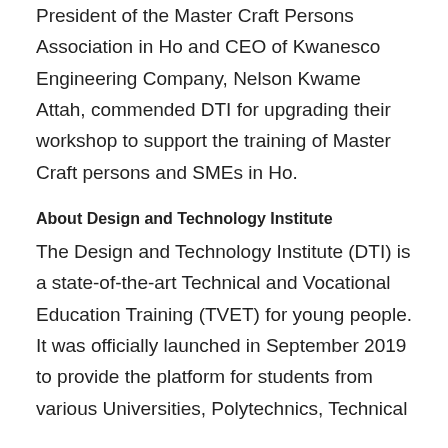President of the Master Craft Persons Association in Ho and CEO of Kwanesco Engineering Company, Nelson Kwame Attah, commended DTI for upgrading their workshop to support the training of Master Craft persons and SMEs in Ho.
About Design and Technology Institute
The Design and Technology Institute (DTI) is a state-of-the-art Technical and Vocational Education Training (TVET) for young people. It was officially launched in September 2019 to provide the platform for students from various Universities, Polytechnics, Technical